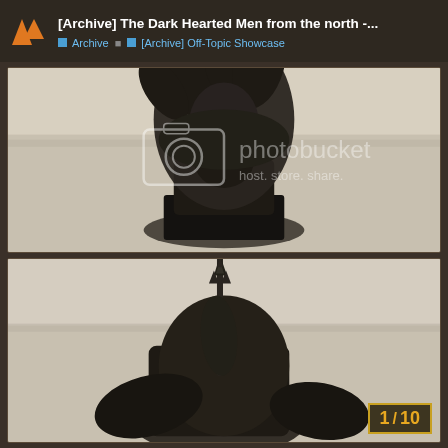[Archive] The Dark Hearted Men from the north -...
Archive | [Archive] Off-Topic Showcase
[Figure (photo): Close-up photo of an unpainted dark grey miniature figure bust with wild hair/feathers on a square black base, with Photobucket watermark overlay]
[Figure (photo): Partial close-up photo of a dark grey miniature figure holding a spiked weapon/banner, with image counter badge showing 1/10]